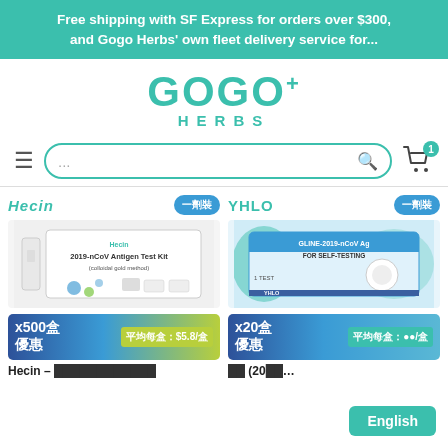Free shipping with SF Express for orders over $300, and Gogo Herbs' own fleet delivery service for...
[Figure (logo): GOGO+ HERBS logo in teal/green color]
[Figure (screenshot): Navigation bar with hamburger menu, search box with '...' placeholder, and cart icon with badge '1']
[Figure (other): Hecin brand with 一劑裝 tag, product image of 2019-nCoV Antigen Test Kit (colloidal gold method)]
[Figure (other): YHLO brand with 一劑裝 tag, product image of GLINE-2019-nCoV Ag FOR SELF-TESTING kit]
x500盒 優惠 平均每盒：$5.8/盒
x20盒 優惠 平均每盒：...
Hecin – ████████████
██ (20██...
English